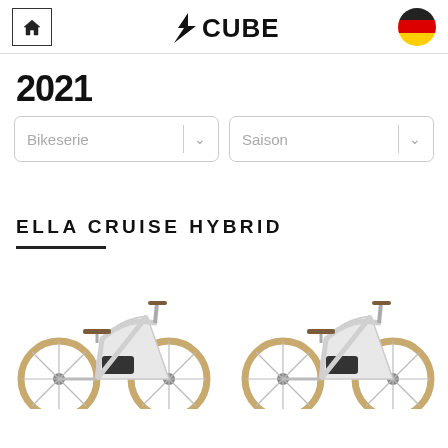Cube bikes catalog header with home button, Cube logo, and German flag
2021
Bikeserie | Saison (dropdown filters)
ELLA CRUISE HYBRID
[Figure (photo): Two white Cube Ella Cruise Hybrid e-bikes photographed from the side, partially cropped at the bottom of the page]